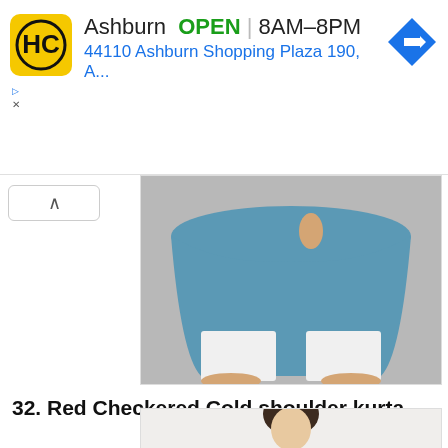[Figure (infographic): HC logo ad banner: Ashburn OPEN 8AM-8PM, 44110 Ashburn Shopping Plaza 190, A..., navigation arrow icon]
[Figure (photo): Woman wearing blue flared kurta with white wide-leg pants and white sandals, showing lower half of outfit on grey background]
32. Red Checkered Cold shoulder kurta
[Figure (photo): Partial photo of woman wearing red checkered cold shoulder kurta, showing upper portion]